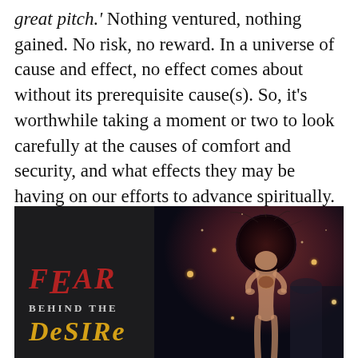'great pitch.' Nothing ventured, nothing gained. No risk, no reward. In a universe of cause and effect, no effect comes about without its prerequisite cause(s). So, it's worthwhile taking a moment or two to look carefully at the causes of comfort and security, and what effects they may be having on our efforts to advance spiritually.
[Figure (illustration): Book cover image split into two halves: left side is dark background with red stylized text 'FEAR', below it 'BEHIND THE' in small caps, and gold stylized text 'DESIRE'; right side shows a fantasy illustration of a female figure with an ornate headdress standing in a mystical setting with glowing orbs.]